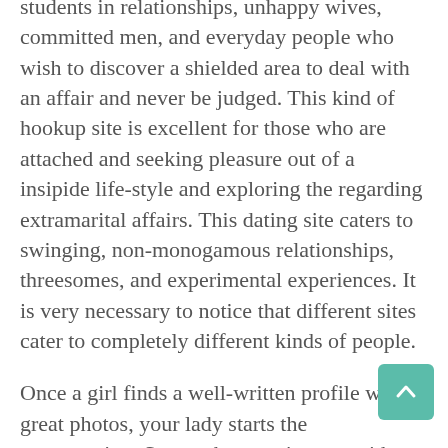students in relationships, unhappy wives, committed men, and everyday people who wish to discover a shielded area to deal with an affair and never be judged. This kind of hookup site is excellent for those who are attached and seeking pleasure out of a insipide life-style and exploring the regarding extramarital affairs. This dating site caters to swinging, non-monogamous relationships, threesomes, and experimental experiences. It is very necessary to notice that different sites cater to completely different kinds of people.
Once a girl finds a well-written profile with great photos, your lady starts the conversation. System has a going out with app, which is out there about android and iOS gadgets, and you'll get hold of it freed from charge. Free gifts at Silver precious metal Singles embrace viewing different users'